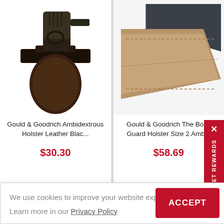[Figure (photo): Gould & Goodrich dark brown leather ambidextrous holster with black pistol]
Gould & Goodrich Ambidextrous Holster Leather Blac...
$30.30
[Figure (photo): Gould & Goodrich The Body Guard Holster tan/brown fabric strap product]
Gould & Goodrich The Body Guard Holster Size 2 Amb...
$58.69
GET REWARDS
We use cookies to improve your website experience.
Learn more in our Privacy Policy
ACCEPT